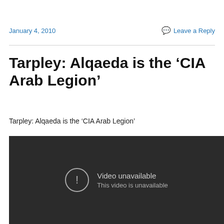January 4, 2010
Leave a Reply
Tarpley: Alqaeda is the ‘CIA Arab Legion’
Tarpley: Alqaeda is the ‘CIA Arab Legion’
[Figure (screenshot): Video unavailable placeholder with dark background, circle exclamation icon, text 'Video unavailable' and 'This video is unavailable']